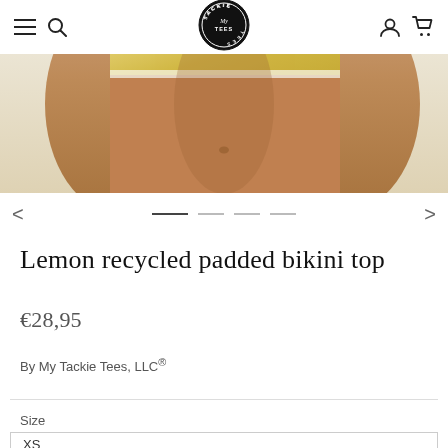Navigation bar with hamburger menu, search icon, Tackie My Tees logo, account icon, cart icon
[Figure (photo): Product photo showing midsection of a person wearing a lemon yellow tie-dye padded bikini top, cropped at waist level, warm skin tones visible]
Lemon recycled padded bikini top
€28,95
By My Tackie Tees, LLC®
Size
XS